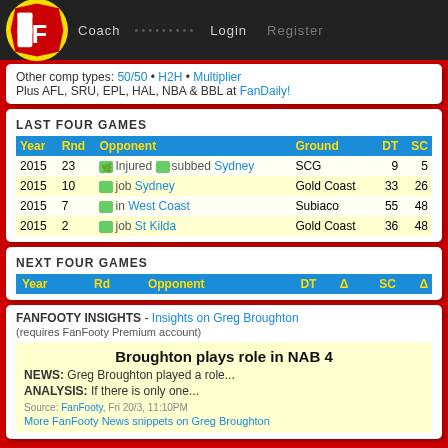FF | Coach | ......... | Login | Register
Other comp types: 50/50 • H2H • Multiplier
Plus AFL, SRU, EPL, HAL, NBA & BBL at FanDaily!
LAST FOUR GAMES
| Year | Rnd | Opponent | Ground | DT | SC |
| --- | --- | --- | --- | --- | --- |
| 2015 | 23 | Injured subbed Sydney | SCG | 9 | 5 |
| 2015 | 10 | job Sydney | Gold Coast | 33 | 26 |
| 2015 | 7 | in West Coast | Subiaco | 55 | 48 |
| 2015 | 2 | job St Kilda | Gold Coast | 36 | 48 |
NEXT FOUR GAMES
| Year | Rd | Opponent | DT | Δ | SC | Δ |
| --- | --- | --- | --- | --- | --- | --- |
FANFOOTY INSIGHTS - Insights on Greg Broughton
(requires FanFooty Premium account)
Broughton plays role in NAB 4
NEWS: Greg Broughton played a role...
ANALYSIS: If there is only one...
Source: FanFooty, Fri 20/3, 11:10PM
More FanFooty News snippets on Greg Broughton